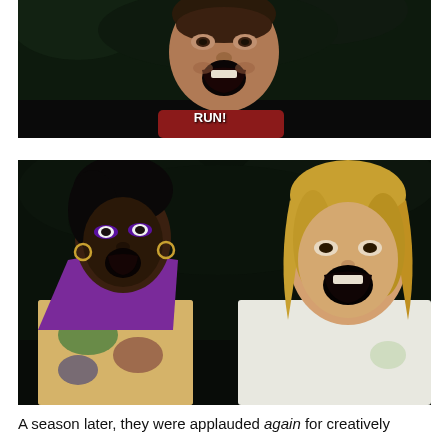[Figure (photo): A man with his mouth wide open shouting, wearing a red shirt, in a dark outdoor setting. White subtitle text reads 'RUN!' overlaid on the lower center of the image.]
[Figure (photo): Two women with their mouths open in expressions of shock or screaming. The woman on the left is Black with purple eye makeup and hoop earrings wearing a colorful dress. The woman on the right is blonde wearing a white shirt. Dark outdoor background.]
A season later, they were applauded again for creatively